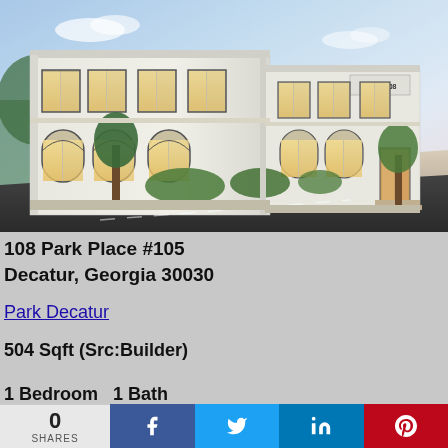[Figure (illustration): Architectural rendering of Park 108 building, a white multi-story building with arched windows on the ground floor, rectangular windows on upper floor, trees in front, street corner view, blue sky background.]
108 Park Place #105
Decatur, Georgia 30030
Park Decatur
504 Sqft (Src:Builder)
1 Bedroom  1 Bath
0 SHARES